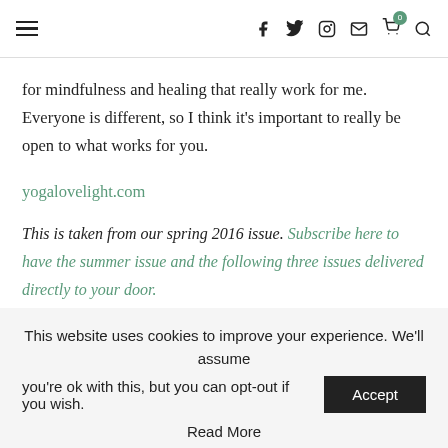≡  f  𝕏  ◎  ✉  🛒  🔍
for mindfulness and healing that really work for me. Everyone is different, so I think it's important to really be open to what works for you.
yogalovelight.com
This is taken from our spring 2016 issue. Subscribe here to have the summer issue and the following three issues delivered directly to your door.
April 26, 2016  |  0 comment
This website uses cookies to improve your experience. We'll assume you're ok with this, but you can opt-out if you wish.
Accept
Read More